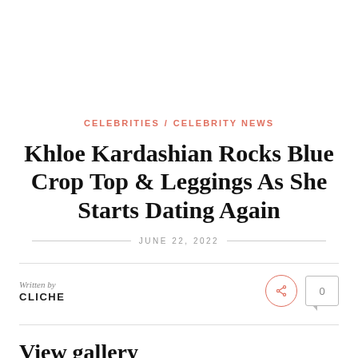CELEBRITIES / CELEBRITY NEWS
Khloe Kardashian Rocks Blue Crop Top & Leggings As She Starts Dating Again
JUNE 22, 2022
Written by
CLICHE
View gallery